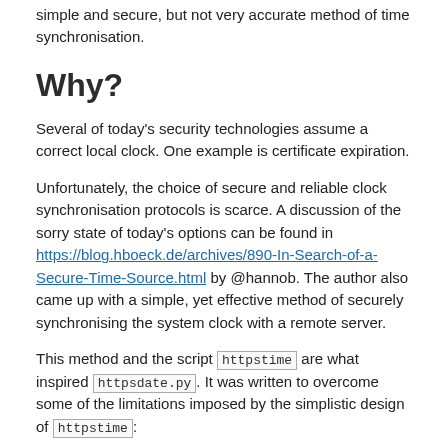simple and secure, but not very accurate method of time synchronisation.
Why?
Several of today's security technologies assume a correct local clock. One example is certificate expiration.
Unfortunately, the choice of secure and reliable clock synchronisation protocols is scarce. A discussion of the sorry state of today's options can be found in https://blog.hboeck.de/archives/890-In-Search-of-a-Secure-Time-Source.html by @hannob. The author also came up with a simple, yet effective method of securely synchronising the system clock with a remote server.
This method and the script httpstime are what inspired httpsdate.py. It was written to overcome some of the limitations imposed by the simplistic design of httpstime: